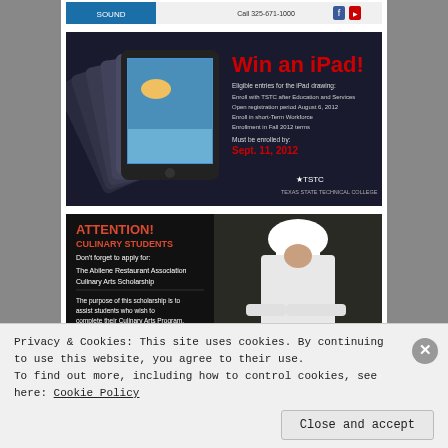[Figure (screenshot): Top advertisement banner - small, appears to be a headphone/audio product ad with social media icons]
[Figure (screenshot): Win an iPad! advertisement - shows multiple iPads fanned out with red text 'Win an iPad!' and eligibility details for TSTC students]
[Figure (screenshot): ATTENTION! Culinary Students ad - shows chef plating food, mentions Abilene Restaurant Association Culinary Arts Scholarship, deadlines Summer 2013, Spring 2014, June 3 2013]
[Figure (screenshot): TSTC Last Day to Register for Fall 2012 bulletin board ad - Friday Aug 10, Saturday Aug 11, All TSTC Great Texas campuses, with TSTC logo, calendar showing August 10]
Privacy & Cookies: This site uses cookies. By continuing to use this website, you agree to their use.
To find out more, including how to control cookies, see here: Cookie Policy
Close and accept